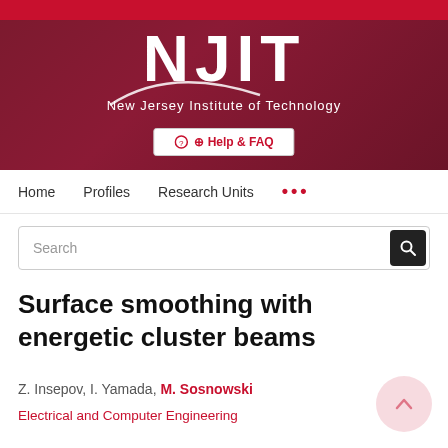[Figure (logo): NJIT - New Jersey Institute of Technology logo with white text on dark red/maroon gradient background, red top bar, and decorative swoosh]
Help & FAQ
Home   Profiles   Research Units   ...
Search
Surface smoothing with energetic cluster beams
Z. Insepov, I. Yamada, M. Sosnowski
Electrical and Computer Engineering